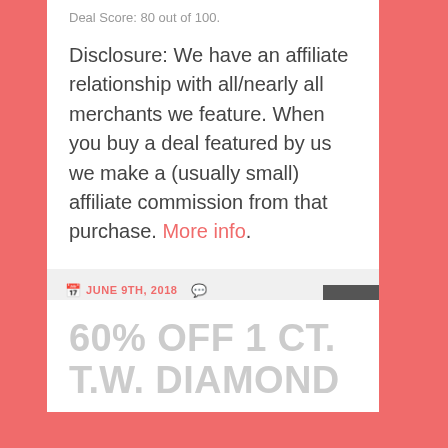Deal Score: 80 out of 100.
Disclosure: We have an affiliate relationship with all/nearly all merchants we feature. When you buy a deal featured by us we make a (usually small) affiliate commission from that purchase. More info.
JUNE 9TH, 2018   LEAVE A COMMENT   DEAL OF THE DAY, VERY BEST DEALS   ANATOLII
60% OFF 1 CT. T.W. DIAMOND